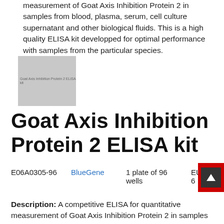measurement of Goat Axis Inhibition Protein 2 in samples from blood, plasma, serum, cell culture supernatant and other biological fluids. This is a high quality ELISA kit developped for optimal performance with samples from the particular species.
[Figure (photo): Product image placeholder for Goat Axis Inhibition Protein 2 ELISA kit]
Goat Axis Inhibition Protein 2 ELISA kit
E06A0305-96    BlueGene    1 plate of 96 wells    EUR 6
Description: A competitive ELISA for quantitative measurement of Goat Axis Inhibition Protein 2 in samples from blood, plasma, serum, cell culture supernatant and